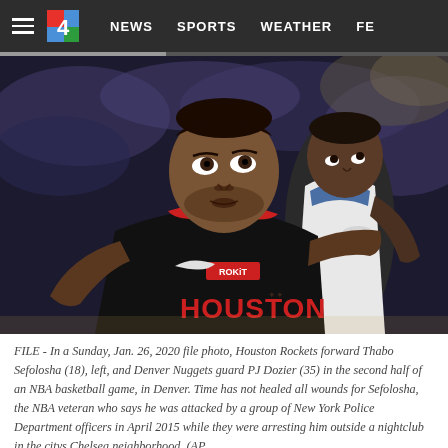≡  4   NEWS   SPORTS   WEATHER   FE...
[Figure (photo): Basketball photo: Houston Rockets forward Thabo Sefolosha wearing black Houston jersey with ROKiT sponsor and Nike logo, looking up. Denver Nuggets guard PJ Dozier partially visible in the background also looking up. Indoor arena setting with blurred crowd.]
FILE - In a Sunday, Jan. 26, 2020 file photo, Houston Rockets forward Thabo Sefolosha (18), left, and Denver Nuggets guard PJ Dozier (35) in the second half of an NBA basketball game, in Denver. Time has not healed all wounds for Sefolosha, the NBA veteran who says he was attacked by a group of New York Police Department officers in April 2015 while they were arresting him outside a nightclub in the citys Chelsea neighborhood. (AP